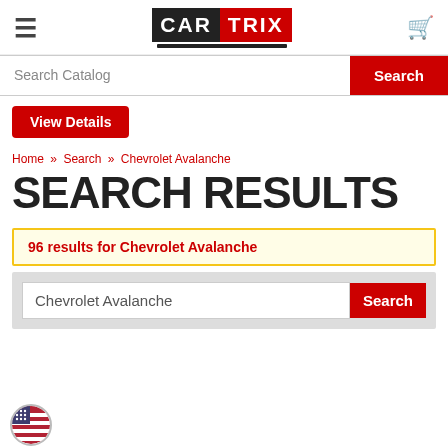[Figure (logo): CarTrix logo with CAR in black box and TRIX in red box, black underline]
Search Catalog
Search
View Details
Home » Search » Chevrolet Avalanche
SEARCH RESULTS
96 results for Chevrolet Avalanche
Chevrolet Avalanche
Search